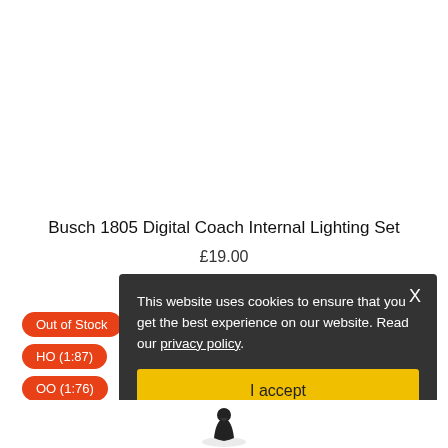Busch 1805 Digital Coach Internal Lighting Set
£19.00
Out of Stock
HO (1:87)
OO (1:76)
This website uses cookies to ensure that you get the best experience on our website. Read our privacy policy.
I accept